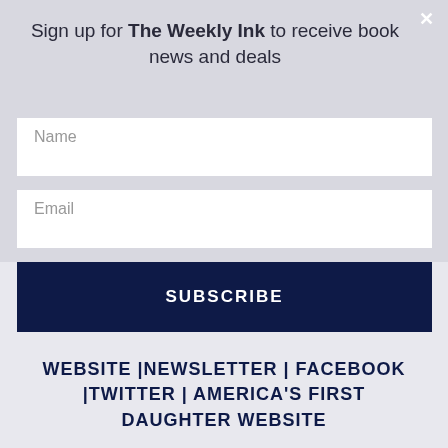Sign up for The Weekly Ink to receive book news and deals
Name
Email
SUBSCRIBE
WEBSITE |NEWSLETTER | FACEBOOK |TWITTER | AMERICA'S FIRST DAUGHTER WEBSITE